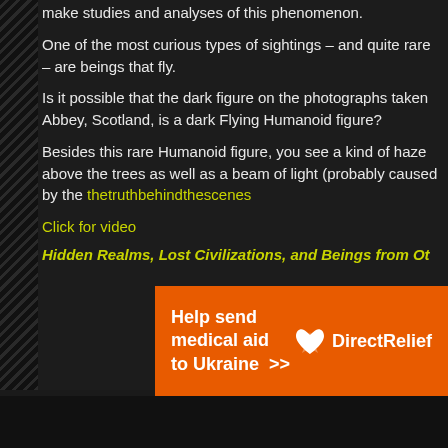make studies and analyses of this phenomenon.
One of the most curious types of sightings – and quite rare – are beings that fly.
Is it possible that the dark figure on the photographs taken Abbey, Scotland, is a dark Flying Humanoid figure?
Besides this rare Humanoid figure, you see a kind of haze above the trees as well as a beam of light (probably caused by the thetruthbehindthescenes
Click for video
Hidden Realms, Lost Civilizations, and Beings from Ot
[Figure (infographic): Orange advertisement banner: Help send medical aid to Ukraine >> | DirectRelief logo]